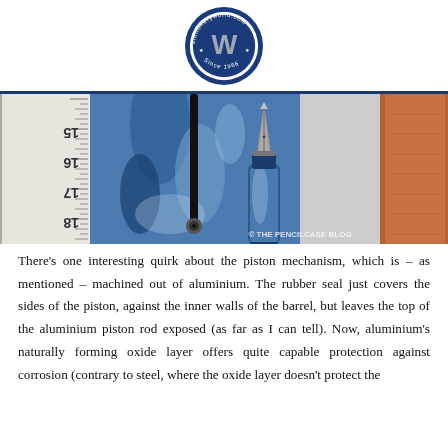stationeryworld.com logo
[Figure (photo): Close-up photo of fountain pen nibs and barrel with blue marbled resin body, alongside a ruler showing markings 15-18, and a brown leather item on the right. Watermark reads © THE PENCILCASE BLOG]
There's one interesting quirk about the piston mechanism, which is – as mentioned – machined out of aluminium. The rubber seal just covers the sides of the piston, against the inner walls of the barrel, but leaves the top of the aluminium piston rod exposed (as far as I can tell). Now, aluminium's naturally forming oxide layer offers quite capable protection against corrosion (contrary to steel, where the oxide layer doesn't protect the